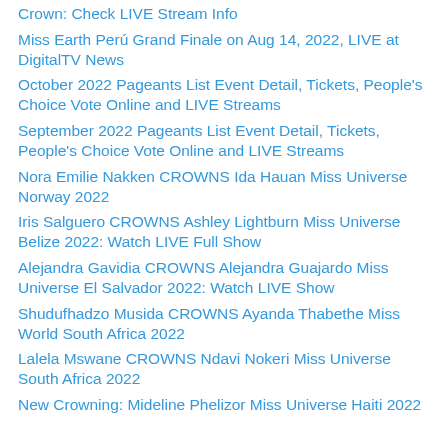Crown: Check LIVE Stream Info
Miss Earth Perú Grand Finale on Aug 14, 2022, LIVE at DigitalTV News
October 2022 Pageants List Event Detail, Tickets, People's Choice Vote Online and LIVE Streams
September 2022 Pageants List Event Detail, Tickets, People's Choice Vote Online and LIVE Streams
Nora Emilie Nakken CROWNS Ida Hauan Miss Universe Norway 2022
Iris Salguero CROWNS Ashley Lightburn Miss Universe Belize 2022: Watch LIVE Full Show
Alejandra Gavidia CROWNS Alejandra Guajardo Miss Universe El Salvador 2022: Watch LIVE Show
Shudufhadzo Musida CROWNS Ayanda Thabethe Miss World South Africa 2022
Lalela Mswane CROWNS Ndavi Nokeri Miss Universe South Africa 2022
New Crowning: Mideline Phelizor Miss Universe Haiti 2022